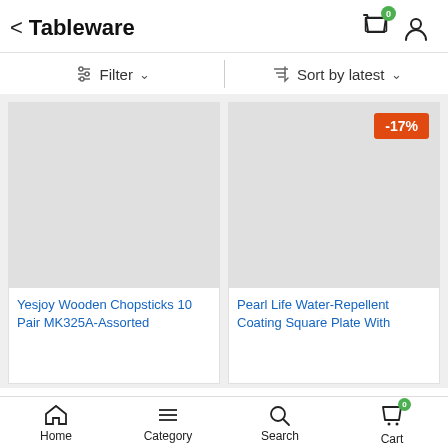Tableware
Filter   Sort by latest
[Figure (screenshot): Product image placeholder (gray rectangle) for Yesjoy Wooden Chopsticks]
Yesjoy Wooden Chopsticks 10 Pair MK325A-Assorted
[Figure (screenshot): Product image placeholder (gray rectangle) for Pearl Life Water-Repellent Coating Square Plate With, with -17% discount badge]
Pearl Life Water-Repellent Coating Square Plate With
Home   Category   Search   Cart